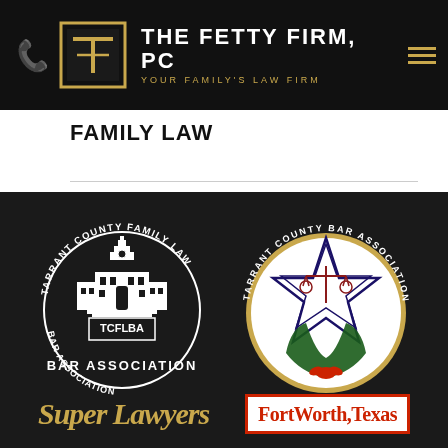[Figure (logo): The Fetty Firm PC law firm header with phone icon, firm logo, firm name and tagline, and hamburger menu on black background]
FAMILY LAW
[Figure (logo): Tarrant County Family Law Bar Association (TCFLBA) logo - white illustration of courthouse building with circular text around it]
[Figure (logo): Tarrant County Bar Association logo - circular badge with star, scales of justice, wreath, established 1904]
[Figure (logo): Super Lawyers logo in gold italic serif font]
[Figure (logo): Fort Worth Texas logo in red serif font inside red border box on white background]